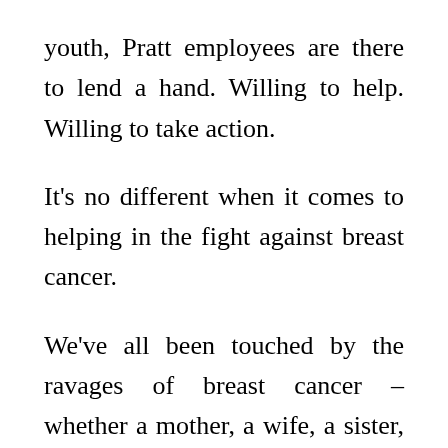youth, Pratt employees are there to lend a hand. Willing to help. Willing to take action.
It's no different when it comes to helping in the fight against breast cancer.
We've all been touched by the ravages of breast cancer – whether a mother, a wife, a sister, a friend, even a daughter.
Rally for the Cure is a grassroots program that works to spread awareness about breast